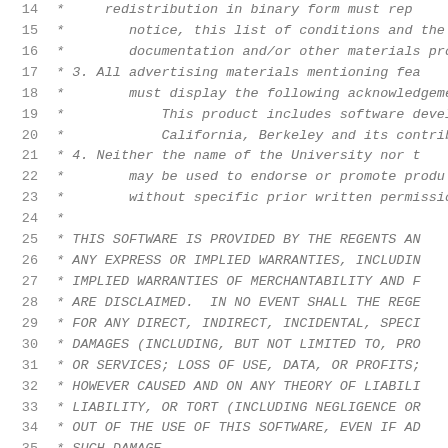Source code listing lines 14-44, BSD license comment and C preprocessor directives
14: *   redistribution in binary form must rep
15: *       notice, this list of conditions and the
16: *       documentation and/or other materials pro
17: *   3. All advertising materials mentioning fea
18: *       must display the following acknowledgeme
19: *           This product includes software develop
20: *           California, Berkeley and its contribut
21: *   4. Neither the name of the University nor t
22: *       may be used to endorse or promote produ
23: *       without specific prior written permissio
24: *
25: * THIS SOFTWARE IS PROVIDED BY THE REGENTS AN
26: * ANY EXPRESS OR IMPLIED WARRANTIES, INCLUDIN
27: * IMPLIED WARRANTIES OF MERCHANTABILITY AND F
28: * ARE DISCLAIMED.  IN NO EVENT SHALL THE REGE
29: * FOR ANY DIRECT, INDIRECT, INCIDENTAL, SPECI
30: * DAMAGES (INCLUDING, BUT NOT LIMITED TO, PRO
31: * OR SERVICES; LOSS OF USE, DATA, OR PROFITS;
32: * HOWEVER CAUSED AND ON ANY THEORY OF LIABILI
33: * LIABILITY, OR TORT (INCLUDING NEGLIGENCE OR
34: * OUT OF THE USE OF THIS SOFTWARE, EVEN IF AD
35: * SUCH DAMAGE.
36: *
37: * $FreeBSD$
38: */
39:
40: #ifdef LIBC_RCS
41: static const char rcsid[] =
42:   "$FreeBSD$";
43: #endif
44: